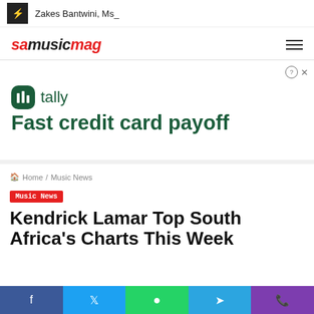Zakes Bantwini, Ms_
[Figure (logo): samusicmag logo in red and black italic text]
[Figure (infographic): Tally advertisement: Fast credit card payoff, with tally icon in dark green]
Home / Music News
Music News
Kendrick Lamar Top South Africa's Charts This Week